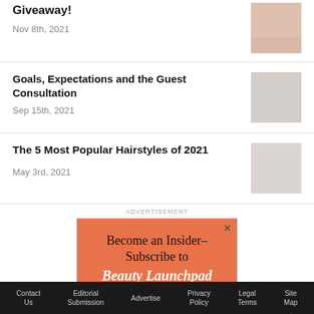Giveaway!
Nov 8th, 2021
Goals, Expectations and the Guest Consultation
Sep 15th, 2021
The 5 Most Popular Hairstyles of 2021
May 3rd, 2021
ADVERTISEMENT
[Figure (other): Advertisement banner: orange background with text 'Become an Insider– Subscribe to Beauty Launchpad Today!']
Contact Us | Editorial Submission | Advertise | Privacy Policy | Legal Terms | Site Map